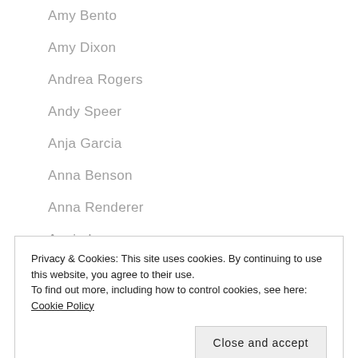Amy Bento
Amy Dixon
Andrea Rogers
Andy Speer
Anja Garcia
Anna Benson
Anna Renderer
Annie Lee
Annie Mairs
Privacy & Cookies: This site uses cookies. By continuing to use this website, you agree to their use.
To find out more, including how to control cookies, see here: Cookie Policy
B.J. Gaddour